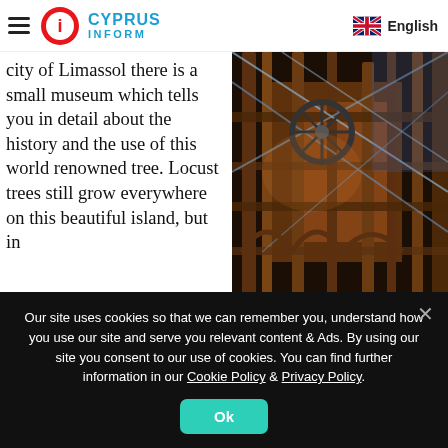CYPRUS INFORM | English
city of Limassol there is a small museum which tells you in detail about the history and the use of this world renowned tree. Locust trees still grow everywhere on this beautiful island, but in ancient times their fruit was widely used and in various forms – to feed cattle, they were squeezed for juice, they were used instead of sugar and as an additive to baking, while syrup made from the fruit of the locust tree, which is often made in monasteries, is still
[Figure (photo): Industrial wooden structure interior with metal wheels and beams, warm amber lighting]
Our site uses cookies so that we can remember you, understand how you use our site and serve you relevant content & Ads. By using our site you consent to our use of cookies. You can find further information in our Cookie Policy & Privacy Policy.